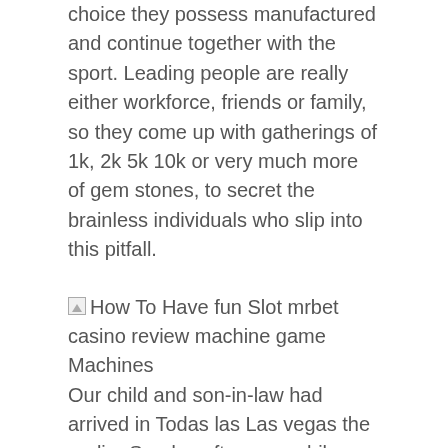choice they possess manufactured and continue together with the sport. Leading people are really either workforce, friends or family, so they come up with gatherings of 1k, 2k 5k 10k or very much more of gem stones, to secret the brainless individuals who slip into this pitfall.
[Figure (other): Broken image icon with alt text: How To Have fun Slot mrbet casino review machine game Machines]
Our child and son-in-law had arrived in Todas las Las vegas the earlier Sunday afternoon while, because of my wife's function, we did not arrive until Weekend morning hours. These cards will cost you $10-$15 per deck but will save you money inside the lengthy run as you won't be replacing them many occasions per night time such as you would with the inexpensive